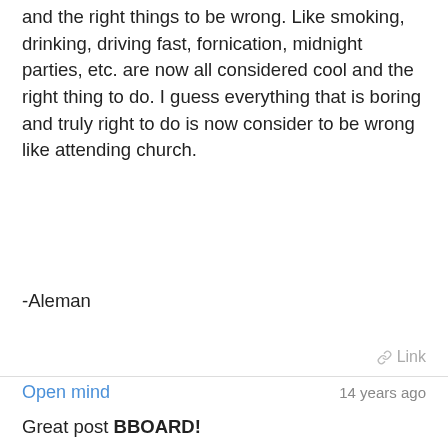and the right things to be wrong. Like smoking, drinking, driving fast, fornication, midnight parties, etc. are now all considered cool and the right thing to do. I guess everything that is boring and truly right to do is now consider to be wrong like attending church.
-Aleman
Link
Open mind
14 years ago
Great post BBOARD!
I was a semi-"Johnny".
Elder's son. Sort of cool, but not cool enough for any of the "really cool" JWs to ever offer me a joint or a drink. It was really strange the unspoken sort of "radar" we all had. I was smart enough not to